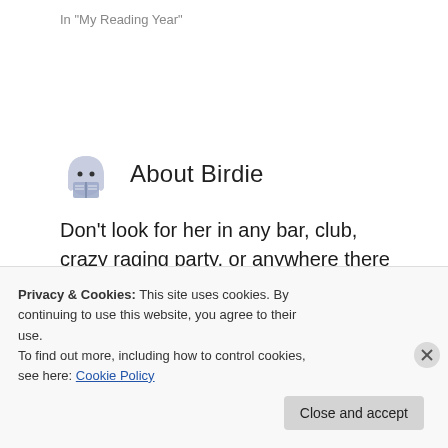In "My Reading Year"
About Birdie
Don't look for her in any bar, club, crazy raging party, or anywhere there may be a large gathering of strangers. She's more likely to be found tucked into the corner of the couch watching one of her favorite shows, or preferably under a comforter
Privacy & Cookies: This site uses cookies. By continuing to use this website, you agree to their use.
To find out more, including how to control cookies, see here: Cookie Policy